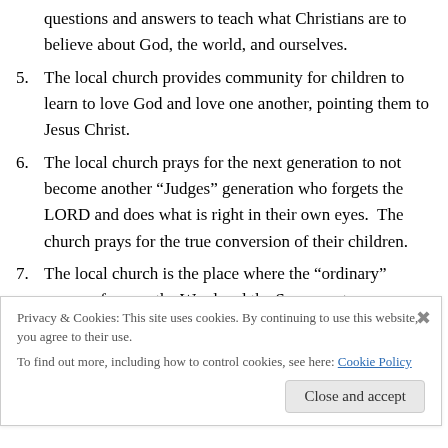questions and answers to teach what Christians are to believe about God, the world, and ourselves.
5. The local church provides community for children to learn to love God and love one another, pointing them to Jesus Christ.
6. The local church prays for the next generation to not become another “Judges” generation who forgets the LORD and does what is right in their own eyes. The church prays for the true conversion of their children.
7. The local church is the place where the “ordinary” means of grace–the Word and the Sacraments–are
Privacy & Cookies: This site uses cookies. By continuing to use this website, you agree to their use.
To find out more, including how to control cookies, see here: Cookie Policy
Close and accept